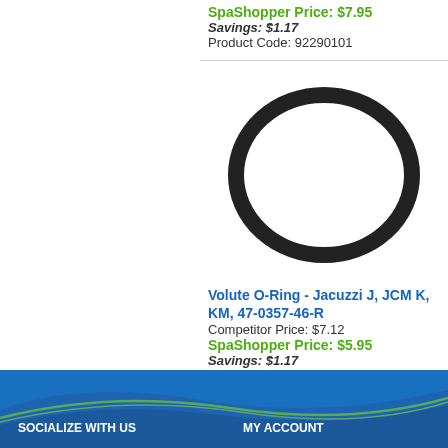SpaShopper Price: $7.95
Savings: $1.17
Product Code: 92290101
[Figure (photo): Black rubber O-ring on white background]
Volute O-Ring - Jacuzzi J, JCM K, KM, 47-0357-46-R
Competitor Price: $7.12
SpaShopper Price: $5.95
Savings: $1.17
Product Code: 47-0357-46-R
SOCIALIZE WITH US   MY ACCOUNT